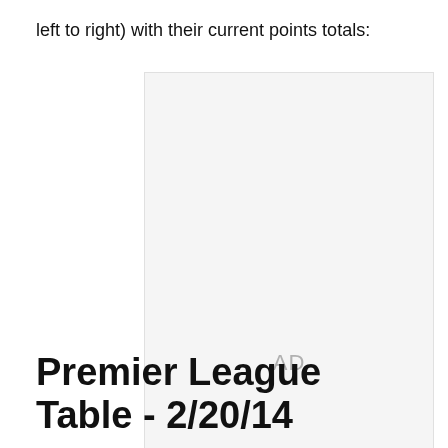left to right) with their current points totals:
[Figure (other): Advertisement placeholder box with 'AD' label in grey]
Premier League Table - 2/20/14